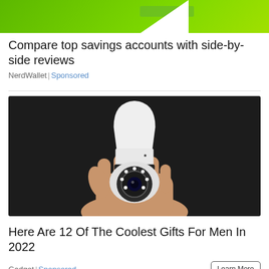[Figure (photo): Green banner/header image for NerdWallet savings account ad with white triangular cutout at bottom right and a faint horizontal bar element]
Compare top savings accounts with side-by-side reviews
NerdWallet | Sponsored
[Figure (photo): A hand holding a white security camera shaped like a light bulb with an Edison screw base, with LED lights around the lens, against a dark background]
Here Are 12 Of The Coolest Gifts For Men In 2022
Gadget | Sponsored